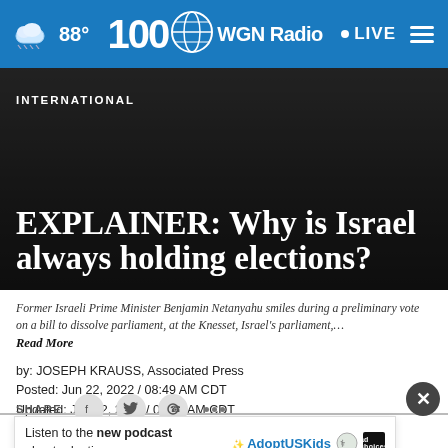WGN Radio 100 · 88° · LIVE
INTERNATIONAL
EXPLAINER: Why is Israel always holding elections?
[Figure (photo): Dark background photo with Former Israeli Prime Minister Benjamin Netanyahu, used as hero image behind article headline]
Former Israeli Prime Minister Benjamin Netanyahu smiles during a preliminary vote on a bill to dissolve parliament, at the Knesset, Israel's parliament,… Read More
by: JOSEPH KRAUSS, Associated Press
Posted: Jun 22, 2022 / 08:49 AM CDT
Updated: Jun 22, 2022 / 09:50 AM CDT
SHARE
Listen to the new podcast about adoption.